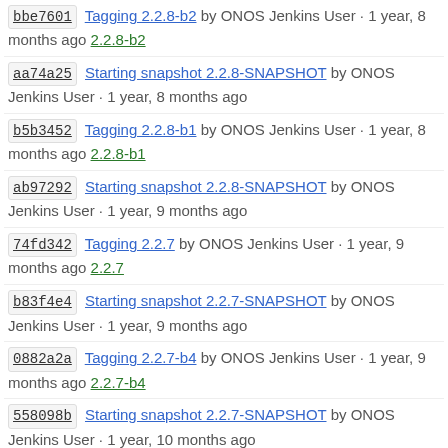bbe7601 Tagging 2.2.8-b2 by ONOS Jenkins User · 1 year, 8 months ago 2.2.8-b2
aa74a25 Starting snapshot 2.2.8-SNAPSHOT by ONOS Jenkins User · 1 year, 8 months ago
b5b3452 Tagging 2.2.8-b1 by ONOS Jenkins User · 1 year, 8 months ago 2.2.8-b1
ab97292 Starting snapshot 2.2.8-SNAPSHOT by ONOS Jenkins User · 1 year, 9 months ago
74fd342 Tagging 2.2.7 by ONOS Jenkins User · 1 year, 9 months ago 2.2.7
b83f4e4 Starting snapshot 2.2.7-SNAPSHOT by ONOS Jenkins User · 1 year, 9 months ago
0882a2a Tagging 2.2.7-b4 by ONOS Jenkins User · 1 year, 9 months ago 2.2.7-b4
558098b Starting snapshot 2.2.7-SNAPSHOT by ONOS Jenkins User · 1 year, 10 months ago
52e45b4 Tagging 2.2.7-b3 by ONOS Jenkins User · 1 year, 10 months ago 2.2.7-b3
19cd45b Starting snapshot 2.2.7-SNAPSHOT by ONOS Jenkins User